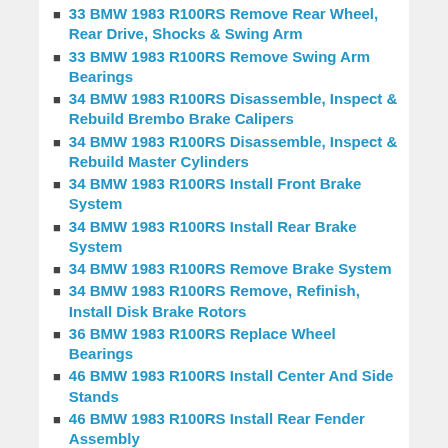33 BMW 1983 R100RS Remove Rear Wheel, Rear Drive, Shocks & Swing Arm
33 BMW 1983 R100RS Remove Swing Arm Bearings
34 BMW 1983 R100RS Disassemble, Inspect & Rebuild Brembo Brake Calipers
34 BMW 1983 R100RS Disassemble, Inspect & Rebuild Master Cylinders
34 BMW 1983 R100RS Install Front Brake System
34 BMW 1983 R100RS Install Rear Brake System
34 BMW 1983 R100RS Remove Brake System
34 BMW 1983 R100RS Remove, Refinish, Install Disk Brake Rotors
36 BMW 1983 R100RS Replace Wheel Bearings
46 BMW 1983 R100RS Install Center And Side Stands
46 BMW 1983 R100RS Install Rear Fender Assembly
46 BMW 1983 R100RS Remove Fairing, Dash, Volt Meter, Clock, Ignition Switch